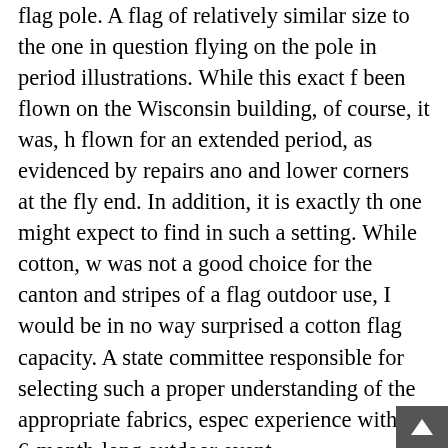flag pole. A flag of relatively similar size to the one in question flying on the pole in period illustrations. While this exact flag been flown on the Wisconsin building, of course, it was, however flown for an extended period, as evidenced by repairs and lower corners at the fly end. In addition, it is exactly the type one might expect to find in such a setting. While cotton, was not a good choice for the canton and stripes of a flag for outdoor use, I would be in no way surprised a cotton flag capacity. A state committee responsible for selecting such a proper understanding of the appropriate fabrics, especially experience with a 6-month-long outdoor event.
In 1893, Wisconsin erected another house, grander in scale, at the Columbian Exposition in Chicago. Even larger than the Philadelphia premise of the Chicago World's Fair was the 400th anniversary landing of Christopher Columbus. A dedication occurred in year, but the opening was delayed until 1893 due to the extent of its construction. The exposition covered more than 600 acres under 200 buildings, at the center of which was a huge,